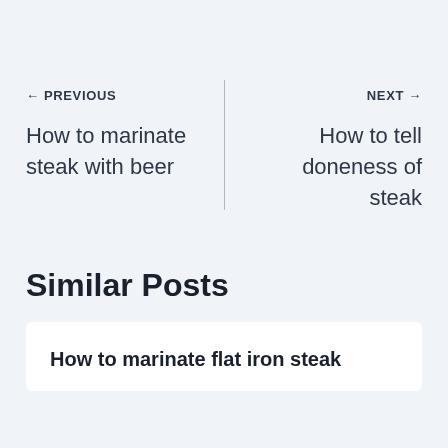← PREVIOUS
How to marinate steak with beer
NEXT →
How to tell doneness of steak
Similar Posts
How to marinate flat iron steak